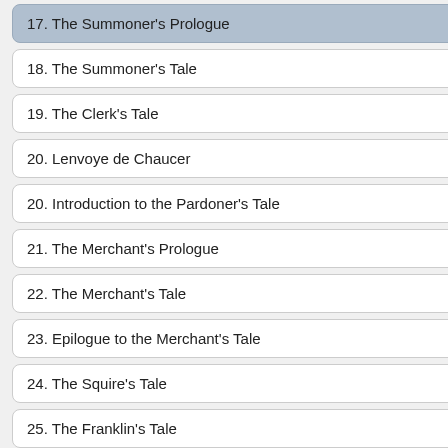17. The Summoner's Prologue
18. The Summoner's Tale
19. The Clerk's Tale
20. Lenvoye de Chaucer
20. Introduction to the Pardoner's Tale
21. The Merchant's Prologue
22. The Merchant's Tale
23. Epilogue to the Merchant's Tale
24. The Squire's Tale
25. The Franklin's Tale
26. The Second Nun's Tale
¶ And here b
T his somp
Vpon þe frere
Þat lyk an asp
Lordyngs qu
5   I ȝow biseke
Syn ȝe han h
As suffrith m
This frere bo
And god it w
10   Freres and fe